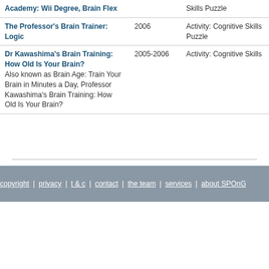| Title | Year | Genre | Platform |
| --- | --- | --- | --- |
| Academy: Wii Degree, Brain Flex |  | Skills Puzzle |  |
| The Professor's Brain Trainer: Logic | 2006 | Activity: Cognitive Skills Puzzle | DS/DSi Cartridge |
| Dr Kawashima's Brain Training: How Old Is Your Brain? Also known as Brain Age: Train Your Brain in Minutes a Day, Professor Kawashima's Brain Training: How Old Is Your Brain? | 2005-2006 | Activity: Cognitive Skills | DS/DSi Cartridge |
copyright | privacy | t & c | contact | the team | services | about SPOnG